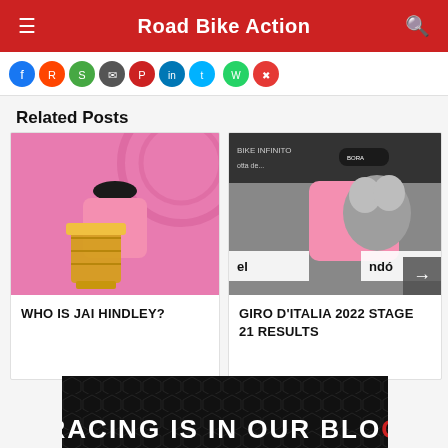Road Bike Action
[Figure (screenshot): Social media sharing icons row: Facebook, Reddit, and other platform icons]
Related Posts
[Figure (photo): Cyclist in pink jersey kissing gold trophy at Giro d'Italia]
WHO IS JAI HINDLEY?
[Figure (photo): Cyclist in pink jersey hugging grey stuffed animal mascot at Giro d'Italia stage finish, with arrow navigation overlay]
GIRO D'ITALIA 2022 STAGE 21 RESULTS
[Figure (photo): Dark banner with text RACING IS IN OUR BLOO (partial) in white and red on dark hexagonal pattern background]